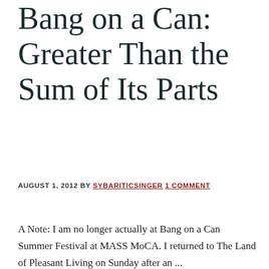Bang on a Can: Greater Than the Sum of Its Parts
AUGUST 1, 2012 BY SYBARITICSINGER 1 COMMENT
A Note: I am no longer actually at Bang on a Can Summer Festival at MASS MoCA. I returned to The Land of Pleasant Living on Sunday after an ...